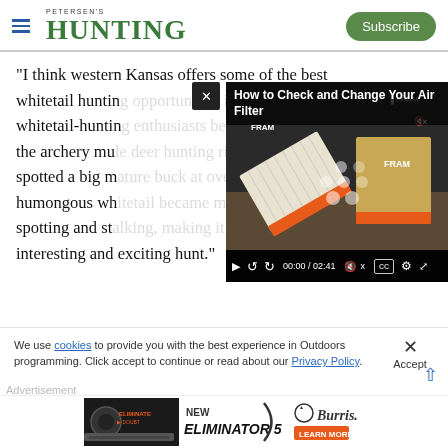PETERSEN'S HUNTING — Subscribe
"I think western Kansas offers some of the best whitetail huntin... whitetail-huntin... the archery mu... spotted a big m... humongous wh... spotting and st... interesting and exciting hunt."
[Figure (screenshot): Video player showing 'How to Check and Change Your Air Filter' with FRAM air filter product image, video controls showing 00:00 / 02:41]
We use cookies to provide you with the best experience in Outdoors programming. Click accept to continue or read about our Privacy Policy.
[Figure (photo): Advertisement banner for Burris Eliminator 5 scope product]